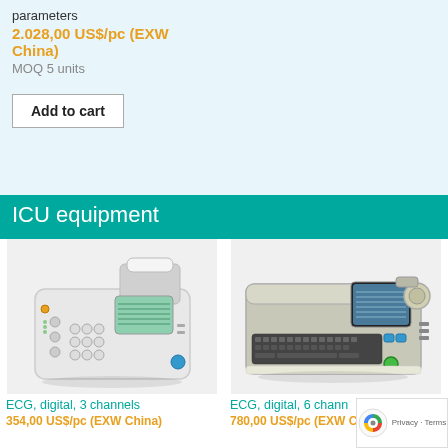parameters
2.028,00 US$/pc (EXW China)
MOQ 5 units
Add to cart
ICU equipment
[Figure (photo): ECG machine, digital, 3 channels - white/grey portable ECG device with display and buttons]
[Figure (logo): CE and FDA regulatory approval logos]
[Figure (photo): ECG machine, digital, 6 channels - grey/white portable ECG device with keyboard and display]
ECG, digital, 3 channels
354,00 US$/pc (EXW China)
ECG, digital, 6 chann
780,00 US$/pc (EXW China)